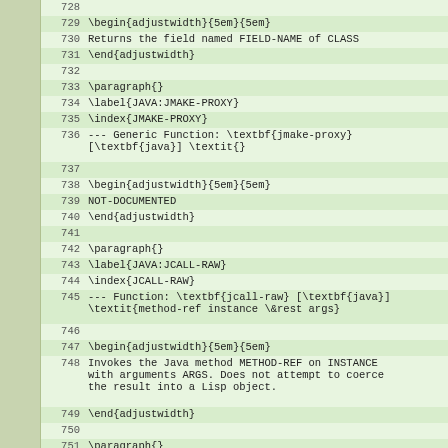|  | line | code |
| --- | --- | --- |
|  | 728 |  |
|  | 729 | \begin{adjustwidth}{5em}{5em} |
|  | 730 | Returns the field named FIELD-NAME of CLASS |
|  | 731 | \end{adjustwidth} |
|  | 732 |  |
|  | 733 | \paragraph{} |
|  | 734 | \label{JAVA:JMAKE-PROXY} |
|  | 735 | \index{JMAKE-PROXY} |
|  | 736 | --- Generic Function: \textbf{jmake-proxy}[\textbf{java}] \textit{} |
|  | 737 |  |
|  | 738 | \begin{adjustwidth}{5em}{5em} |
|  | 739 | NOT-DOCUMENTED |
|  | 740 | \end{adjustwidth} |
|  | 741 |  |
|  | 742 | \paragraph{} |
|  | 743 | \label{JAVA:JCALL-RAW} |
|  | 744 | \index{JCALL-RAW} |
|  | 745 | --- Function: \textbf{jcall-raw} [\textbf{java}]\textit{method-ref instance \&rest args} |
|  | 746 |  |
|  | 747 | \begin{adjustwidth}{5em}{5em} |
|  | 748 | Invokes the Java method METHOD-REF on INSTANCE with arguments ARGS. Does not attempt to coerce the result into a Lisp object. |
|  | 749 | \end{adjustwidth} |
|  | 750 |  |
|  | 751 | \paragraph{} |
|  | 752 | \label{JAVA:+FALSE+} |
|  | 753 | \index{+FALSE+} |
|  | 754 | --- Variable: \textbf{+false+} [\textbf{java}]\textit{} |
|  | 755 |  |
|  | 756 | \begin{adjustwidth}{5em}{5em} |